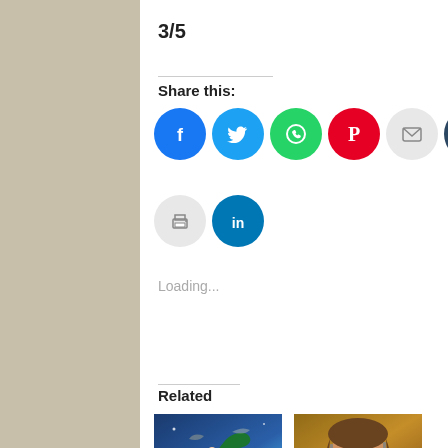3/5
Share this:
[Figure (infographic): Social share buttons: Facebook, Twitter, WhatsApp, Pinterest, Email, Tumblr, Reddit, Print, LinkedIn]
Loading...
Related
[Figure (photo): Movie still: How to Train Your Dragon animated scene]
[Figure (photo): Movie still: Film Friday 212 - Mr and Mrs O's]
MOVIE REVIEW: How to Train
Film Friday 212: Mr and Mrs O's